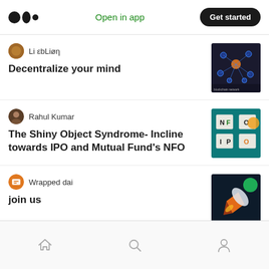Medium logo | Open in app | Get started
Li εbLiøη
Decentralize your mind
[Figure (photo): Network/blockchain visualization image with blue nodes on dark background]
Rahul Kumar
The Shiny Object Syndrome- Incline towards IPO and Mutual Fund's NFO
[Figure (photo): Teal background with letter tiles spelling NFO and IPO]
Wrapped dai
join us
[Figure (photo): Dark background with a rocket launching, space theme with green emoji]
Home | Search | Profile navigation icons